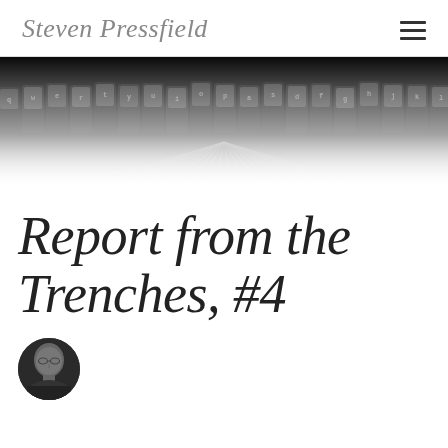Steven Pressfield
[Figure (photo): Close-up photograph of vintage typewriter typebars/keys arranged in a row, black and white metallic, dramatic macro shot]
Report from the Trenches, #4
[Figure (photo): Circular author portrait photo of a bald man with glasses, dark tones]